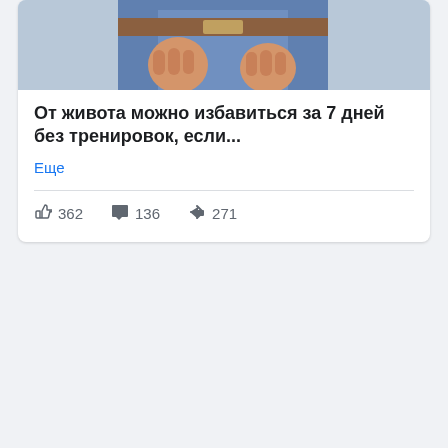[Figure (photo): Photo of person in jeans, cropped at top showing torso and hands]
От живота можно избавиться за 7 дней без тренировок, если...
Еще
👍 362   💬 136   ➤ 271
[Figure (photo): Broken/loading image placeholder at bottom of page]